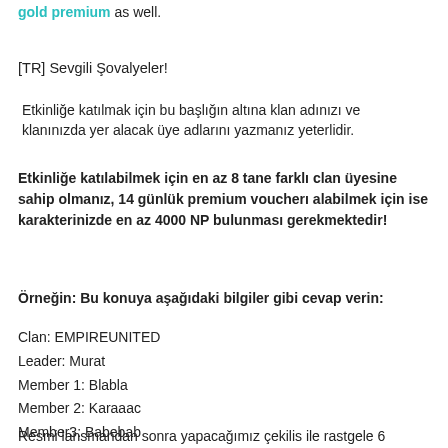gold premium as well.
[TR] Sevgili Şovalyeler!
Etkinliğe katılmak için bu başlığın altına klan adınızı ve  klanınızda yer alacak üye adlarını yazmanız yeterlidir.
Etkinliğe katılabilmek için en az 8 tane farklı clan üyesine sahip olmanız, 14 günlük premium voucherı alabilmek için ise karakterinizde en az 4000 NP bulunması gerekmektedir!
Örneğin: Bu konuya aşağıdaki bilgiler gibi cevap verin:
Clan: EMPIREUNITED
Leader: Murat
Member 1: Blabla
Member 2: Karaaac
Member3: Babebab
Resmi lansmandan sonra yapacağımız çekilis ile rastgele 6